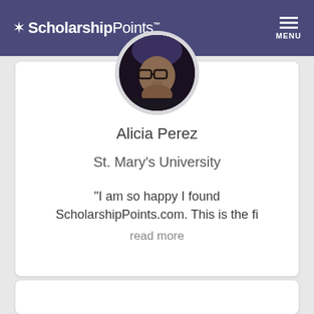ScholarshipPoints MENU
[Figure (photo): Circular profile photo of Alicia Perez, a young woman wearing glasses, with a dark background]
Alicia Perez
St. Mary's University
"I am so happy I found ScholarshipPoints.com. This is the fi
read more